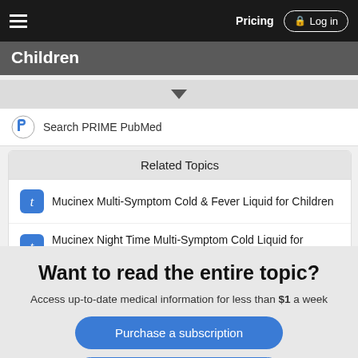Pricing  Log in
Children
[Figure (screenshot): Dropdown arrow indicator bar]
Search PRIME PubMed
Related Topics
Mucinex Multi-Symptom Cold & Fever Liquid for Children
Mucinex Night Time Multi-Symptom Cold Liquid for Children
Want to read the entire topic?
Access up-to-date medical information for less than $1 a week
Purchase a subscription
I'm already a subscriber
Browse sample topics